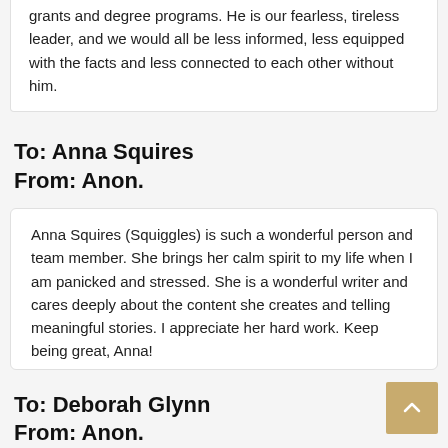grants and degree programs. He is our fearless, tireless leader, and we would all be less informed, less equipped with the facts and less connected to each other without him.
To: Anna Squires
From: Anon.
Anna Squires (Squiggles) is such a wonderful person and team member. She brings her calm spirit to my life when I am panicked and stressed. She is a wonderful writer and cares deeply about the content she creates and telling meaningful stories. I appreciate her hard work. Keep being great, Anna!
To: Deborah Glynn
From: Anon.